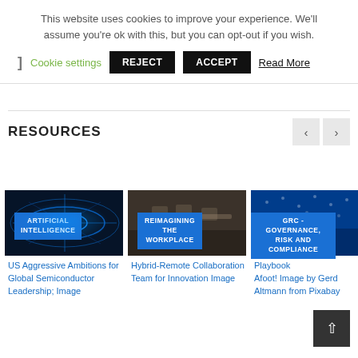This website uses cookies to improve your experience. We'll assume you're ok with this, but you can opt-out if you wish.
] Cookie settings  REJECT  ACCEPT  Read More
RESOURCES
[Figure (screenshot): Three resource cards showing: 1) Artificial Intelligence category with article 'US Aggressive Ambitions for Global Semiconductor Leadership; Image'; 2) Reimagining The Workplace category with article 'Hybrid-Remote Collaboration Team for Innovation Image'; 3) GRC - Governance, Risk and Compliance category with article 'Playbook Afoot! Image by Gerd Altmann from Pixabay']